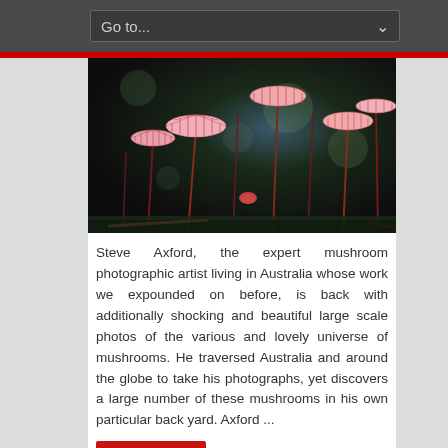Go to...
[Figure (photo): Close-up macro photograph of mushrooms with fan-shaped pink and red caps on thin red stems against a dark blurred background, by Steve Axford]
Steve Axford, the expert mushroom photographic artist living in Australia whose work we expounded on before, is back with additionally shocking and beautiful large scale photos of the various and lovely universe of mushrooms. He traversed Australia and around the globe to take his photographs, yet discovers a large number of these mushrooms in his own particular back yard. Axford ...
Read More »
Conceptual Photography by